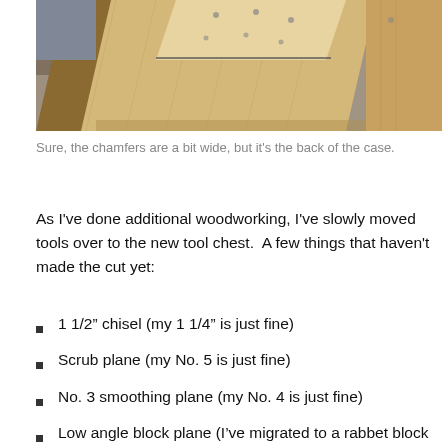[Figure (photo): Photo of wooden box/case components with chamfers, shot from above on a workshop floor with sawdust and OSB board visible.]
Sure, the chamfers are a bit wide, but it's the back of the case.
As I've done additional woodworking, I've slowly moved tools over to the new tool chest.  A few things that haven't made the cut yet:
1 1/2" chisel (my 1 1/4" is just fine)
Scrub plane (my No. 5 is just fine)
No. 3 smoothing plane (my No. 4 is just fine)
Low angle block plane (I've migrated to a rabbet block plane over time)
Roll of firmer gouges